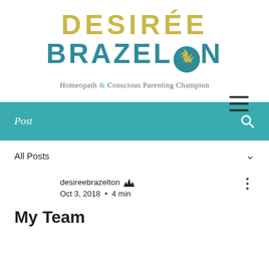DESIRÉE BRAZELTON
Homeopath & Conscious Parenting Champion
[Figure (screenshot): Website screenshot of Desiree Brazelton blog, showing logo, navigation bar with 'Post', 'All Posts' filter, and blog post titled 'My Team' by desireebrazelton, Oct 3, 2018, 4 min read.]
Post
All Posts
desireebrazelton
Oct 3, 2018  •  4 min
My Team